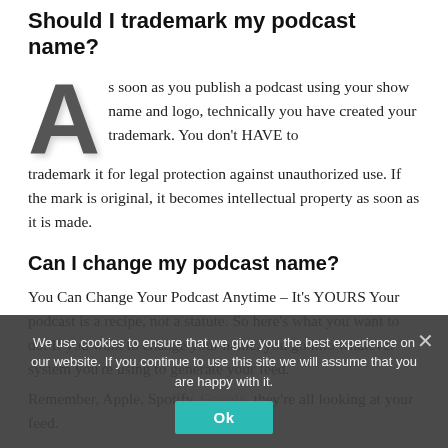Should I trademark my podcast name?
As soon as you publish a podcast using your show name and logo, technically you have created your trademark. You don't HAVE to trademark it for legal protection against unauthorized use. If the mark is original, it becomes intellectual property as soon as it is made.
Can I change my podcast name?
You Can Change Your Podcast Anytime – It's YOURS Your podcast is a recipe, not a statute. So here's what you want to do. If you want to change your name, you go into whatever system you're using to generate your feed. Remember, Apple, Spotify, Google, they're all looking at your feed.
We use cookies to ensure that we give you the best experience on our website. If you continue to use this site we will assume that you are happy with it.